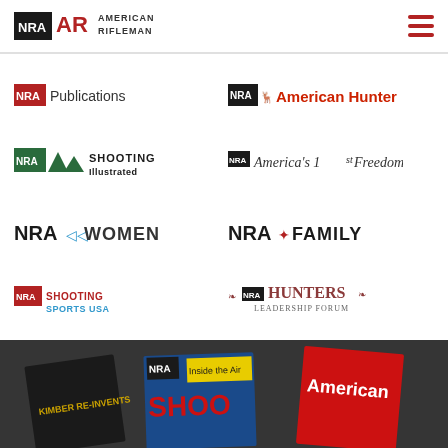[Figure (logo): NRA American Rifleman logo in header]
[Figure (logo): NRA Publications logo]
[Figure (logo): NRA American Hunter logo]
[Figure (logo): NRA Shooting Illustrated logo]
[Figure (logo): NRA America's 1st Freedom logo]
[Figure (logo): NRA Women logo]
[Figure (logo): NRA Family logo]
[Figure (logo): NRA Shooting Sports USA logo]
[Figure (logo): NRA Hunters Leadership Forum logo]
[Figure (logo): NRA Blog logo]
[Figure (photo): NRA magazine covers including American Rifleman and NRA Shooting Sports USA, shown fanned out on dark background]